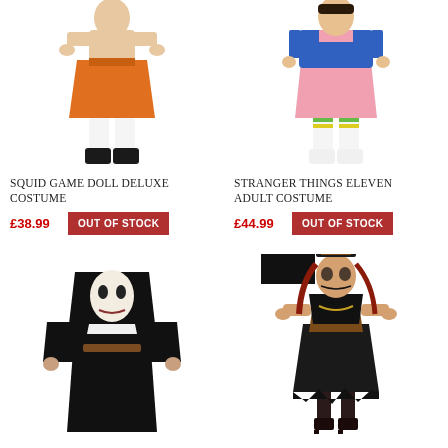[Figure (photo): Squid Game Doll Deluxe Costume - model wearing orange dress with white knee-high socks and black shoes]
[Figure (photo): Stranger Things Eleven Adult Costume - model wearing pink dress with striped knee-high socks and white shoes]
SQUID GAME DOLL DELUXE COSTUME
£38.99
OUT OF STOCK
STRANGER THINGS ELEVEN ADULT COSTUME
£44.99
OUT OF STOCK
[Figure (photo): The Nun costume - model wearing full black nun habit with white face mask]
[Figure (photo): Voodoo witch doctor female costume - model wearing black tattered dress with top hat and face paint]